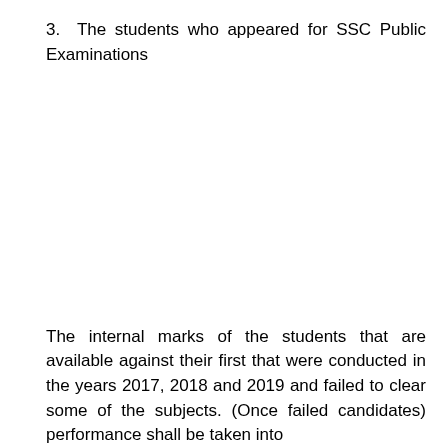3.  The students who appeared for SSC Public Examinations
The internal marks of the students that are available against their first that were conducted in the years 2017, 2018 and 2019 and failed to clear some of the subjects. (Once failed candidates) performance shall be taken into